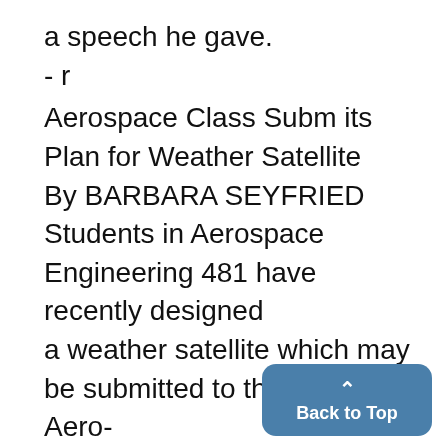a speech he gave.
- r
Aerospace Class Subm its
Plan for Weather Satellite
By BARBARA SEYFRIED
Students in Aerospace Engineering 481 have recently designed a weather satellite which may be submitted to the National Aero-nautics and Space Administration, perhaps to be used in the near future.
To design a "poor man's" weath was the only re-